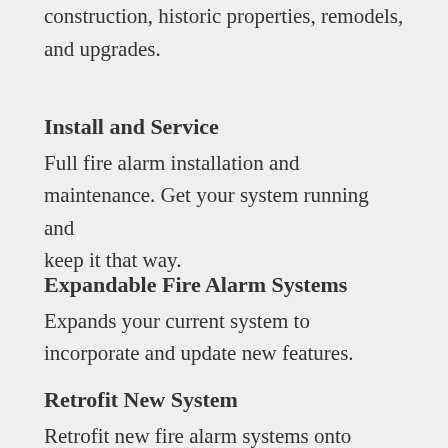construction, historic properties, remodels, and upgrades.
Install and Service
Full fire alarm installation and maintenance. Get your system running and keep it that way.
Expandable Fire Alarm Systems
Expands your current system to incorporate and update new features.
Retrofit New System
Retrofit new fire alarm systems onto outdated